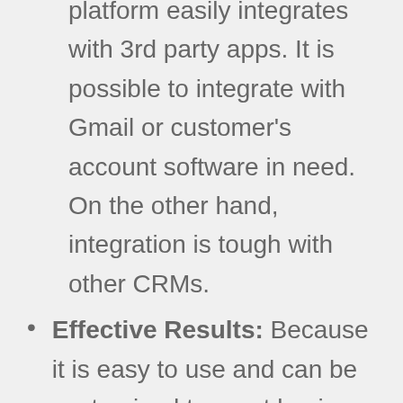platform easily integrates with 3rd party apps. It is possible to integrate with Gmail or customer's account software in need. On the other hand, integration is tough with other CRMs.
Effective Results: Because it is easy to use and can be customized to meet business needs, customers find Salesforce very effective
Affordability: Salesforce is affordable, especially if to